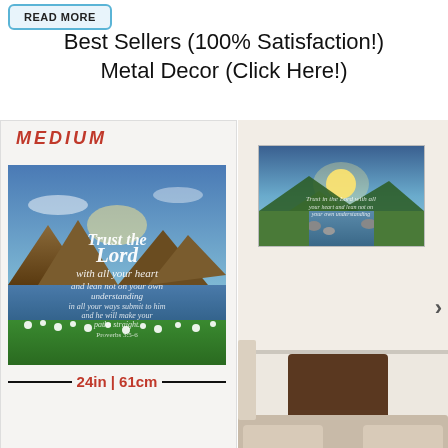[Figure (screenshot): READ MORE button with blue border at top left]
Best Sellers (100% Satisfaction!)
Metal Decor (Click Here!)
[Figure (photo): Left panel showing MEDIUM label, landscape photo with 'Trust the Lord with all your heart' scripture text overlay, mountain lake scene with flowers, and size measurement 24in | 61cm at bottom]
[Figure (photo): Right panel showing metal decor art print hung on bedroom wall above headboard, with mountain river sunrise scene and small scripture text]